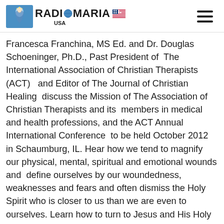RADIO MARIA USA
Francesca Franchina, MS Ed. and Dr. Douglas Schoeninger, Ph.D., Past President of The International Association of Christian Therapists (ACT) and Editor of The Journal of Christian Healing discuss the Mission of The Association of Christian Therapists and its members in medical and health professions, and the ACT Annual International Conference to be held October 2012 in Schaumburg, IL. Hear how we tend to magnify our physical, mental, spiritual and emotional wounds and define ourselves by our woundedness, weaknesses and fears and often dismiss the Holy Spirit who is closer to us than we are even to ourselves. Learn how to turn to Jesus and His Holy Spirit to be a person of expectant faith, hope and love; Realize how The Power of the Holy Spirit carries us in illness and good health; and the joyful/joyfilled blessings of generational and attitudinal